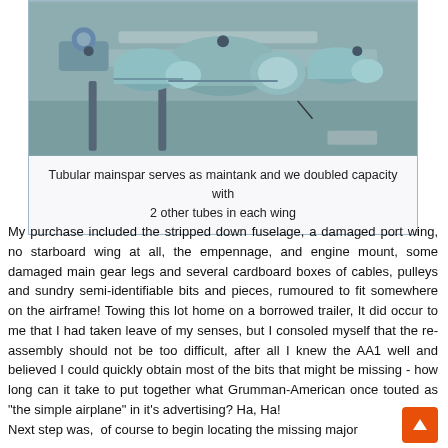[Figure (photo): Close-up photo of a tubular mainspar wing fuel system showing cylindrical tubes mounted on a metal frame structure, in a teal/gray toned image.]
Tubular mainspar serves as maintank and we doubled capacity with 2 other tubes in each wing
My purchase included the stripped down fuselage, a damaged port wing, no starboard wing at all, the empennage, and engine mount, some damaged main gear legs and several cardboard boxes of cables, pulleys and sundry semi-identifiable bits and pieces, rumoured to fit somewhere on the airframe! Towing this lot home on a borrowed trailer, It did occur to me that I had taken leave of my senses, but I consoled myself that the re-assembly should not be too difficult, after all I knew the AA1 well and believed I could quickly obtain most of the bits that might be missing - how long can it take to put together what Grumman-American once touted as "the simple airplane" in it's advertising? Ha, Ha!
Next step was, of course to begin locating the missing major